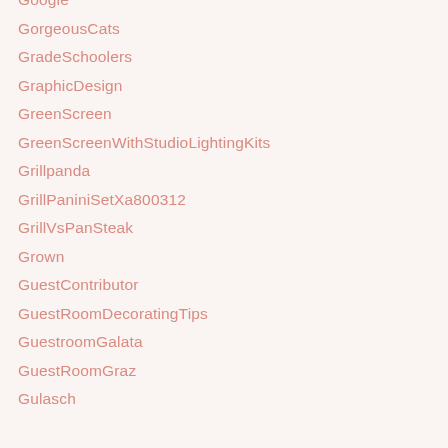Google
GorgeousCats
GradeSchoolers
GraphicDesign
GreenScreen
GreenScreenWithStudioLightingKits
Grillpanda
GrillPaniniSetXa800312
GrillVsPanSteak
Grown
GuestContributor
GuestRoomDecoratingTips
GuestroomGalata
GuestRoomGraz
Gulasch